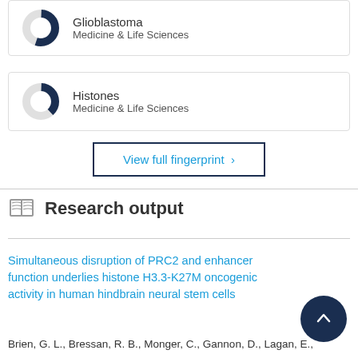[Figure (donut-chart): Partially filled donut chart for Glioblastoma, dark navy segment, grey background]
Glioblastoma
Medicine & Life Sciences
[Figure (donut-chart): Partially filled donut chart for Histones, dark navy segment roughly 40%, grey background]
Histones
Medicine & Life Sciences
View full fingerprint ›
Research output
Simultaneous disruption of PRC2 and enhancer function underlies histone H3.3-K27M oncogenic activity in human hindbrain neural stem cells
Brien, G. L., Bressan, R. B., Monger, C., Gannon, D., Lagan, E.,